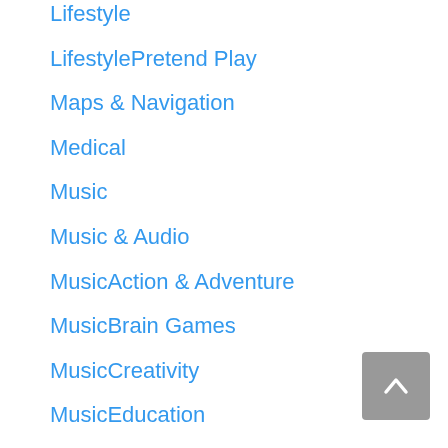Lifestyle
LifestylePretend Play
Maps & Navigation
Medical
Music
Music & Audio
MusicAction & Adventure
MusicBrain Games
MusicCreativity
MusicEducation
MusicMusic & Video
MusicPretend Play
News & Magazines
Parenting